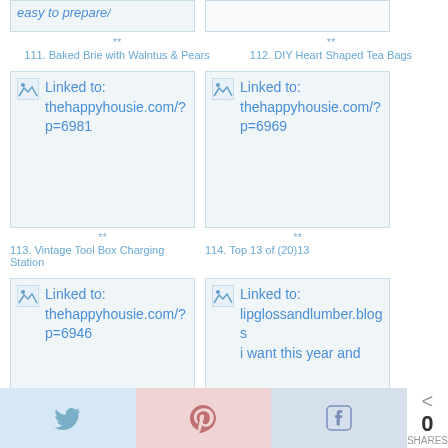[Figure (screenshot): Partial clipped image linked to thehappyhousie.com, showing 'easy to prepare/' text]
[Figure (screenshot): Partial clipped image, empty/white box]
**
111. Baked Brie with Walntus & Pears
**
112. DIY Heart Shaped Tea Bags
[Figure (screenshot): Broken image linked to thehappyhousie.com/?p=6981]
[Figure (screenshot): Broken image linked to thehappyhousie.com/?p=6969]
**
113. Vintage Tool Box Charging Station
**
114. Top 13 of (20)13
[Figure (screenshot): Broken image linked to thehappyhousie.com/?p=6946 (partial)]
[Figure (screenshot): Broken image linked to lipglossandlumber.blogs... (partial)]
Share bar with Twitter, Pinterest, Facebook buttons and 0 SHARES count